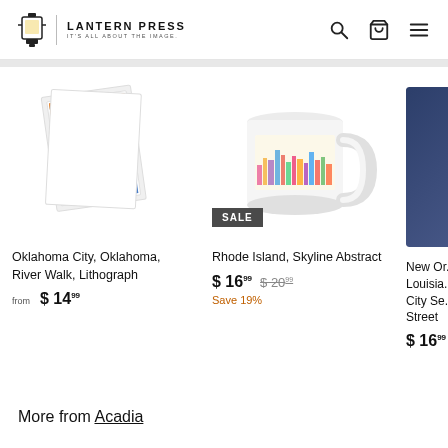LANTERN PRESS — IT'S ALL ABOUT THE IMAGE.
[Figure (photo): Oklahoma City, Oklahoma, River Walk Lithograph product image — framed print leaning against white background]
Oklahoma City, Oklahoma, River Walk, Lithograph
from $ 14.99
[Figure (photo): Rhode Island Skyline Abstract product image — white ceramic mug with colorful skyline design, SALE badge]
Rhode Island, Skyline Abstract
$ 16.99  $ 20.99
Save 19%
[Figure (photo): New Orleans, Louisiana, City Scene Street product image — partially visible on right edge]
New Orleans, Louisiana, City Scene Street
$ 16.99
More from Acadia